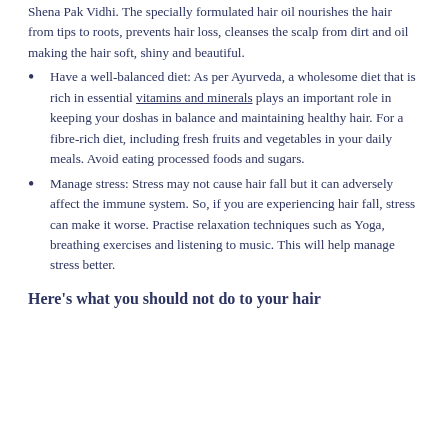Shena Pak Vidhi. The specially formulated hair oil nourishes the hair from tips to roots, prevents hair loss, cleanses the scalp from dirt and oil making the hair soft, shiny and beautiful.
Have a well-balanced diet: As per Ayurveda, a wholesome diet that is rich in essential vitamins and minerals plays an important role in keeping your doshas in balance and maintaining healthy hair. For a fibre-rich diet, including fresh fruits and vegetables in your daily meals. Avoid eating processed foods and sugars.
Manage stress: Stress may not cause hair fall but it can adversely affect the immune system. So, if you are experiencing hair fall, stress can make it worse. Practise relaxation techniques such as Yoga, breathing exercises and listening to music. This will help manage stress better.
Here's what you should not do to your hair